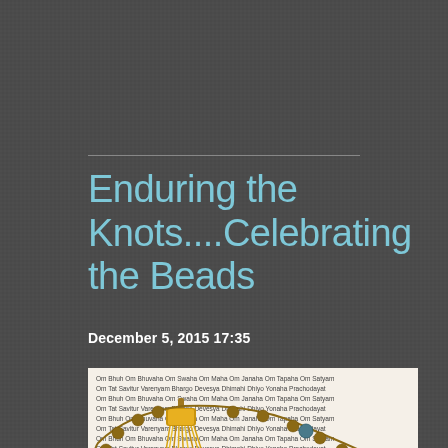Enduring the Knots....Celebrating the Beads
December 5, 2015 17:35
[Figure (photo): A mala (prayer beads) necklace with a golden tassel, lying on top of text showing a Sanskrit mantra (Gayatri Mantra). The beads appear to be wooden with one blue/green bead visible as a marker bead.]